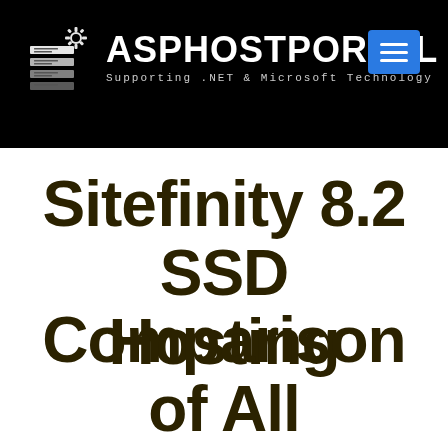[Figure (logo): ASPHostPortal logo with stacked server icon and gear, white text on black background, with blue hamburger menu button in top right]
Sitefinity 8.2 SSD Hosting
Comparison of All